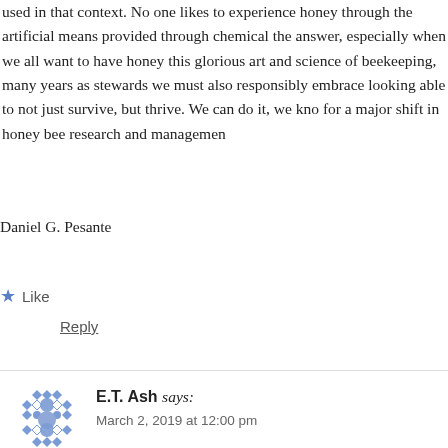used in that context. No one likes to experience honey through the artificial means provided through chemical the answer, especially when we all want to have honey this glorious art and science of beekeeping, many years as stewards we must also responsibly embrace looking able to not just survive, but thrive. We can do it, we kno for a major shift in honey bee research and managemen
Daniel G. Pesante
★ Like
Reply
E.T. Ash says:
March 2, 2019 at 12:00 pm
a Dan snip..
'Most professional beekeepers by default, place a prior